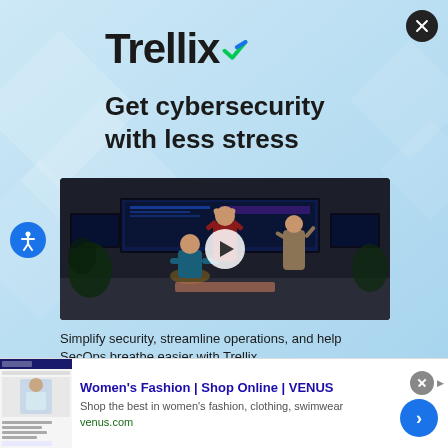[Figure (advertisement): Trellix cybersecurity advertisement with light blue gradient background, decorative geometric shapes, Trellix logo with checkmark, tagline 'Get cybersecurity with less stress', video thumbnail of people doing yoga in a server room with play button overlay, and body text 'Simplify security, streamline operations, and help SecOps breathe easier with Trellix']
Trellix
Get cybersecurity with less stress
Simplify security, streamline operations, and help SecOps breathe easier with Trellix
[Figure (advertisement): Bottom banner ad for VENUS women's fashion. Shows screenshot of Venus website on left. Text: Women's Fashion | Shop Online | VENUS. Shop the best in women's fashion, clothing, swimwear. venus.com. Has close button and blue next/arrow button on right.]
Women's Fashion | Shop Online | VENUS
Shop the best in women's fashion, clothing, swimwear
venus.com